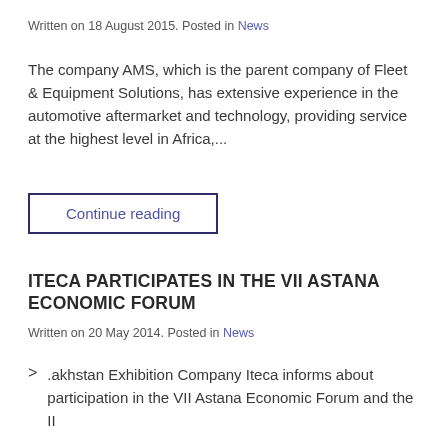Written on 18 August 2015. Posted in News
The company AMS, which is the parent company of Fleet & Equipment Solutions, has extensive experience in the automotive aftermarket and technology, providing service at the highest level in Africa,...
Continue reading
ITECA PARTICIPATES IN THE VII ASTANA ECONOMIC FORUM
Written on 20 May 2014. Posted in News
.akhstan Exhibition Company Iteca informs about participation in the VII Astana Economic Forum and the II